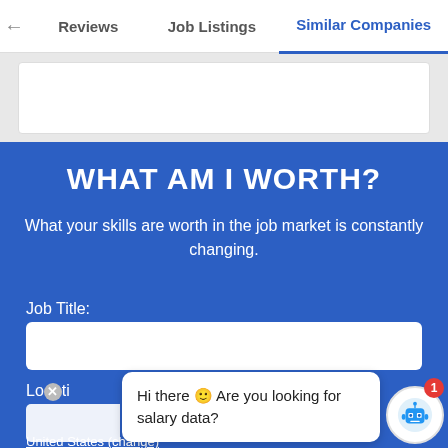Reviews | Job Listings | Similar Companies
WHAT AM I WORTH?
What your skills are worth in the job market is constantly changing.
Job Title:
Lo(x)ti
Hi there 🙂 Are you looking for salary data?
United States (change)